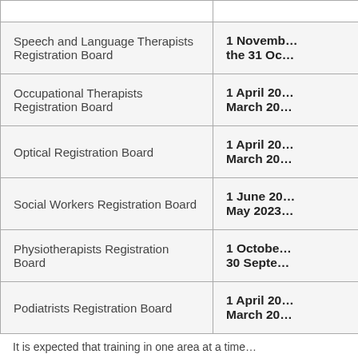| Registration Board | Period |
| --- | --- |
| Speech and Language Therapists Registration Board | 1 November … the 31 Oc… |
| Occupational Therapists Registration Board | 1 April 20… March 20… |
| Optical Registration Board | 1 April 20… March 20… |
| Social Workers Registration Board | 1 June 20… May 2023… |
| Physiotherapists Registration Board | 1 October… 30 Septem… |
| Podiatrists Registration Board | 1 April 20… March 20… |
It is expected that training in one area at a time…